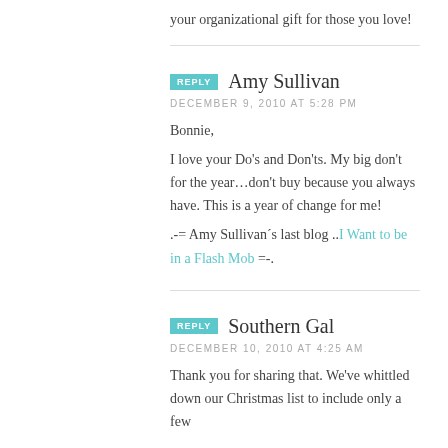your organizational gift for those you love!
Amy Sullivan
DECEMBER 9, 2010 AT 5:28 PM
Bonnie,
I love your Do's and Don'ts. My big don't for the year…don't buy because you always have. This is a year of change for me!
.-= Amy Sullivan´s last blog ..I Want to be in a Flash Mob =-.
Southern Gal
DECEMBER 10, 2010 AT 4:25 AM
Thank you for sharing that. We've whittled down our Christmas list to include only a few